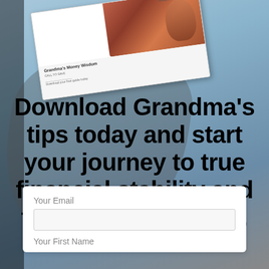[Figure (photo): Background lifestyle photo with blue sky and shadowy silhouette figure, with a tilted booklet/guide overlay in the upper portion showing people and text]
Download Grandma’s tips today and start your journey to true financial stability and fund a life well lived.
Your Email
Your First Name